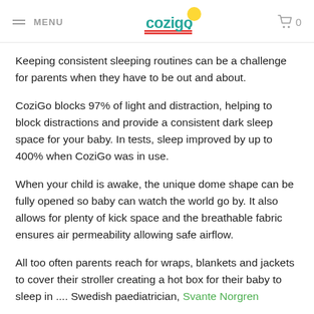MENU | cozigo | 0
Keeping consistent sleeping routines can be a challenge for parents when they have to be out and about.
CoziGo blocks 97% of light and distraction, helping to block distractions and provide a consistent dark sleep space for your baby. In tests, sleep improved by up to 400% when CoziGo was in use.
When your child is awake, the unique dome shape can be fully opened so baby can watch the world go by. It also allows for plenty of kick space and the breathable fabric ensures air permeability allowing safe airflow.
All too often parents reach for wraps, blankets and jackets to cover their stroller creating a hot box for their baby to sleep in .... Swedish paediatrician, Svante Norgren